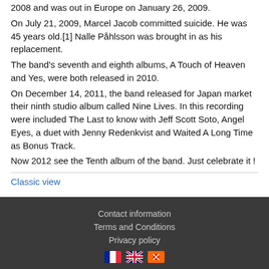2008 and was out in Europe on January 26, 2009.
On July 21, 2009, Marcel Jacob committed suicide. He was 45 years old.[1] Nalle Påhlsson was brought in as his replacement.
The band's seventh and eighth albums, A Touch of Heaven and Yes, were both released in 2010.
On December 14, 2011, the band released for Japan market their ninth studio album called Nine Lives. In this recording were included The Last to know with Jeff Scott Soto, Angel Eyes, a duet with Jenny Redenkvist and Waited A Long Time as Bonus Track.
Now 2012 see the Tenth album of the band. Just celebrate it !
Classic view
Contact information | Terms and Conditions | Privacy policy